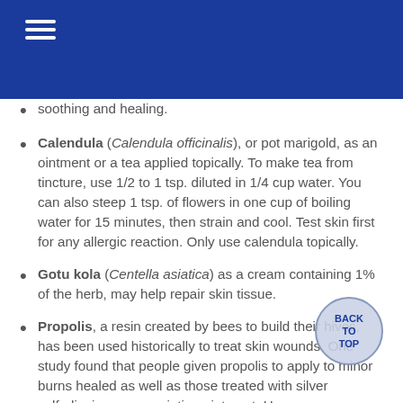soothing and healing.
Calendula (Calendula officinalis), or pot marigold, as an ointment or a tea applied topically. To make tea from tincture, use 1/2 to 1 tsp. diluted in 1/4 cup water. You can also steep 1 tsp. of flowers in one cup of boiling water for 15 minutes, then strain and cool. Test skin first for any allergic reaction. Only use calendula topically.
Gotu kola (Centella asiatica) as a cream containing 1% of the herb, may help repair skin tissue.
Propolis, a resin created by bees to build their hives, has been used historically to treat skin wounds. One study found that people given propolis to apply to minor burns healed as well as those treated with silver sulfadiazine, a prescription ointment. However, more research is needed. If you